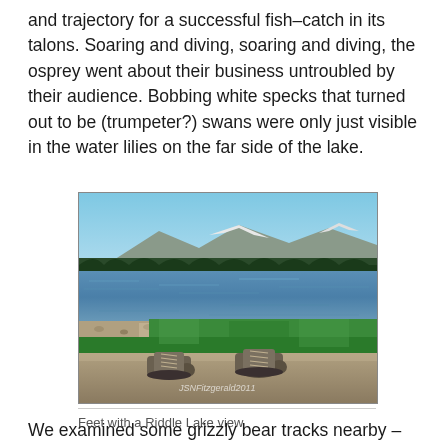and trajectory for a successful fish–catch in its talons. Soaring and diving, soaring and diving, the osprey went about their business untroubled by their audience. Bobbing white specks that turned out to be (trumpeter?) swans were only just visible in the water lilies on the far side of the lake.
[Figure (photo): A photograph taken from ground level showing hiking boots/shoes in the foreground with green grass, a lake with rippling blue-grey water in the middle ground, a treeline and snow-capped mountains in the background under a clear blue sky. A watermark reads 'JSNFitzgerald2011'.]
Feet with a Riddle Lake view
We examined some grizzly bear tracks nearby – they